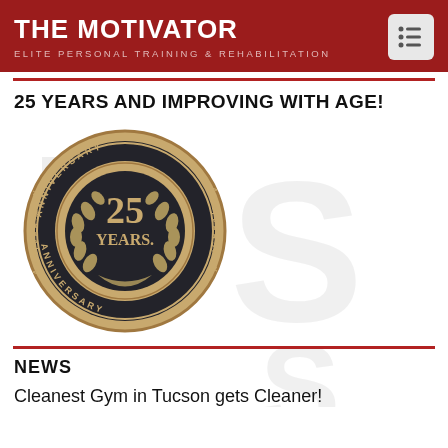THE MOTIVATOR
ELITE PERSONAL TRAINING & REHABILITATION
25 YEARS AND IMPROVING WITH AGE!
[Figure (illustration): 25th Anniversary medallion/badge with laurel wreath, reading '25 YEARS' in the center and 'ANNIVERSARY' repeated around the border on a dark background with gold coloring]
NEWS
Cleanest Gym in Tucson gets Cleaner!